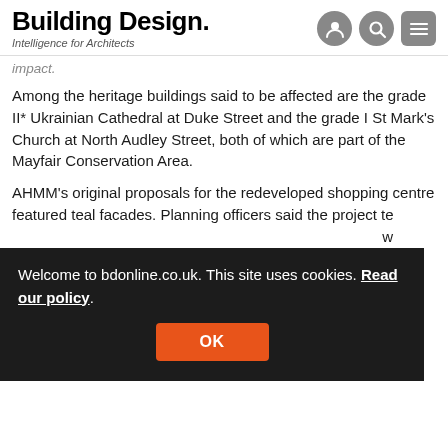Building Design. Intelligence for Architects
impact.
Among the heritage buildings said to be affected are the grade II* Ukrainian Cathedral at Duke Street and the grade I St Mark's Church at North Audley Street, both of which are part of the Mayfair Conservation Area.
AHMM's original proposals for the redeveloped shopping centre featured teal facades. Planning officers said the project te... w...
Welcome to bdonline.co.uk. This site uses cookies. Read our policy.
Go... an...
Westminster City Council's planning committee meets to